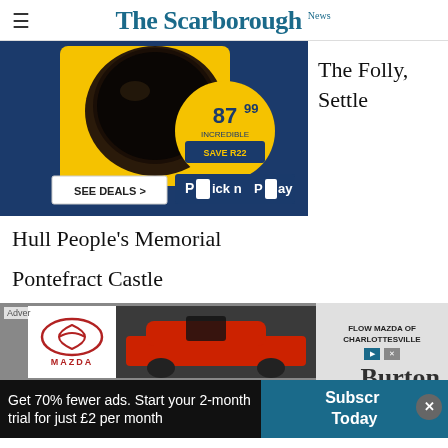The Scarborough News
[Figure (photo): Pick n Pay advertisement showing a coffee jar priced at 87.99 with SAVE R22 label, with SEE DEALS button and Pick n Pay logo on dark blue background]
The Folly, Settle
Hull People's Memorial
Pontefract Castle
[Figure (photo): Mazda advertisement - Flow Mazda of Charlottesville with Mazda logo and car image]
Burton
Get 70% fewer ads. Start your 2-month trial for just £2 per month
Subscribe Today